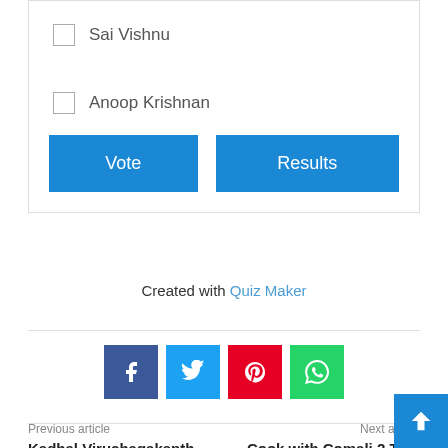Sai Vishnu
Anoop Krishnan
Vote
Results
Created with Quiz Maker
[Figure (infographic): Social sharing icons: Facebook (dark blue), Twitter (light blue), Pinterest (red), WhatsApp (green)]
Previous article
Next article
Kadhal Viruchagakanth aka Baby died due to cardiac...
Cook with Comali 2 Title Winner revealed: One of...